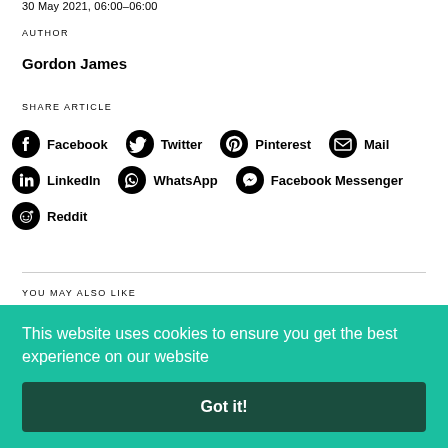30 May 2021, 06:00–06:00
AUTHOR
Gordon James
SHARE ARTICLE
[Figure (infographic): Social share icons: Facebook, Twitter, Pinterest, Mail, LinkedIn, WhatsApp, Facebook Messenger, Reddit]
YOU MAY ALSO LIKE
This website uses cookies to ensure you get the best experience on our website
Got it!